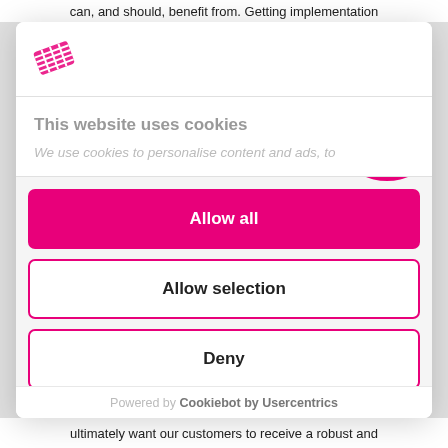can, and should, benefit from. Getting implementation
[Figure (logo): Red/pink diagonal grid/lines logo icon]
This website uses cookies
We use cookies to personalise content and ads, to
Allow all
Allow selection
Deny
Powered by Cookiebot by Usercentrics
ultimately want our customers to receive a robust and